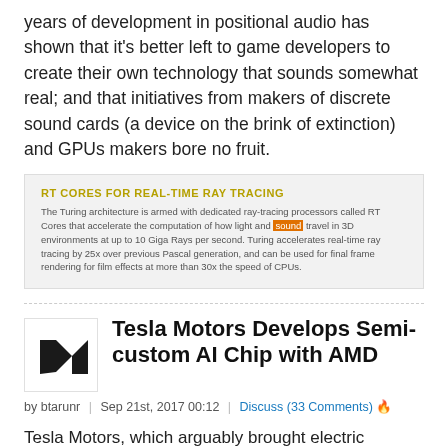years of development in positional audio has shown that it's better left to game developers to create their own technology that sounds somewhat real; and that initiatives from makers of discrete sound cards (a device on the brink of extinction) and GPUs makers bore no fruit.
[Figure (screenshot): Info box with heading 'RT CORES FOR REAL-TIME RAY TRACING' and descriptive text about Turing architecture and RT Cores for real-time ray tracing.]
Tesla Motors Develops Semi-custom AI Chip with AMD
by btarunr | Sep 21st, 2017 00:12 | Discuss (33 Comments) 🔥
Tesla Motors, which arguably brought electric vehicles to the luxury-mainstream, is investing big in self-driving cars. Despite its leader Elon Musk's fears and reservations on just how much one must allow artificial intelligence (AI) to develop, the company realized that a true self-driving car